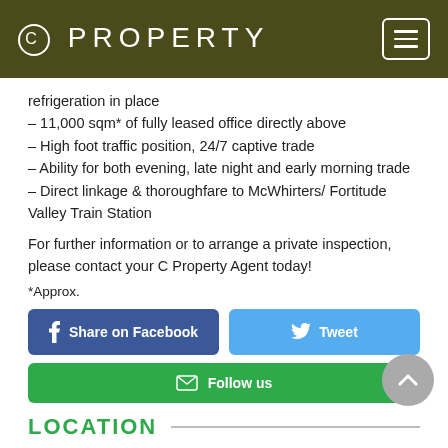C PROPERTY
refrigeration in place
– 11,000 sqm* of fully leased office directly above
– High foot traffic position, 24/7 captive trade
– Ability for both evening, late night and early morning trade
– Direct linkage & thoroughfare to McWhirters/ Fortitude Valley Train Station
For further information or to arrange a private inspection, please contact your C Property Agent today!
*Approx.
Share on Facebook | Tweet | Follow us
LOCATION